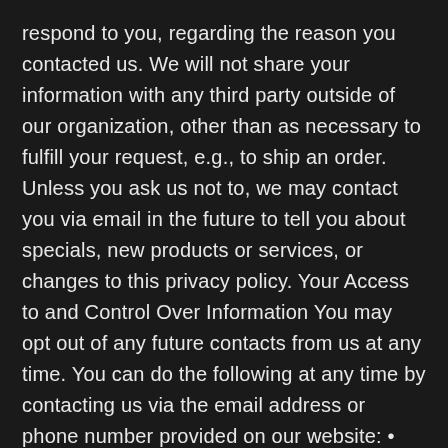respond to you, regarding the reason you contacted us. We will not share your information with any third party outside of our organization, other than as necessary to fulfill your request, e.g., to ship an order. Unless you ask us not to, we may contact you via email in the future to tell you about specials, new products or services, or changes to this privacy policy. Your Access to and Control Over Information You may opt out of any future contacts from us at any time. You can do the following at any time by contacting us via the email address or phone number provided on our website: • See what data we have about you, if any. • Change/correct any data we have about you. • Have us delete any data we have about you. • Express any concern you have about our use of your data Registration In order to use this website, a user must first complete the registration form. During registration a user is required to give certain information (such as name and email